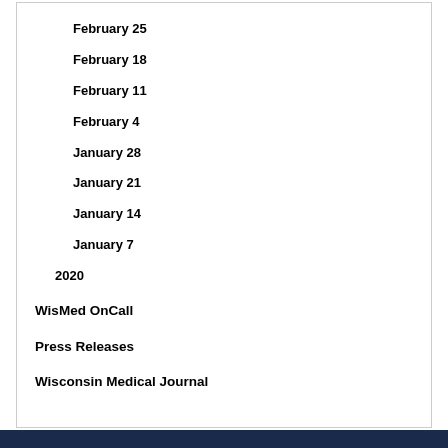February 25
February 18
February 11
February 4
January 28
January 21
January 14
January 7
2020
WisMed OnCall
Press Releases
Wisconsin Medical Journal